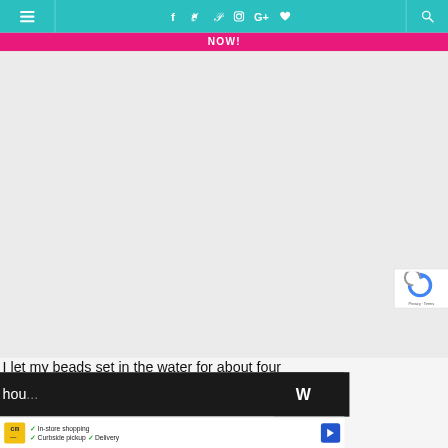NOW!
[Figure (screenshot): Website header with teal navigation bar showing hamburger menu, social media icons (Facebook, Twitter, Pinterest, Instagram, Google+, heart), and search icon. Below is a pink bar with 'NOW!' in white bold text.]
I let my beads set in the water for about four hou...
[Figure (screenshot): reCAPTCHA widget partially visible on right side showing Google reCAPTCHA logo, Privacy and Terms links]
[Figure (screenshot): Advertisement banner at bottom showing CM (City Market/Kroger) store ad with checkmarks for In-store shopping, Curbside pickup, Delivery, and a blue navigation arrow icon]